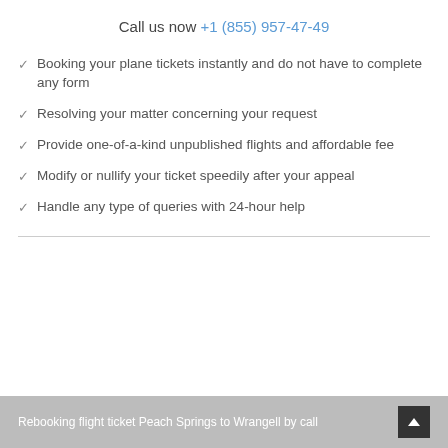Call us now +1 (855) 957-47-49
✓ Booking your plane tickets instantly and do not have to complete any form
✓ Resolving your matter concerning your request
✓ Provide one-of-a-kind unpublished flights and affordable fee
✓ Modify or nullify your ticket speedily after your appeal
✓ Handle any type of queries with 24-hour help
Rebooking flight ticket Peach Springs to Wrangell by call